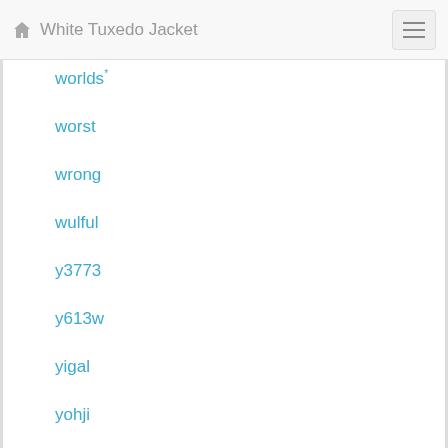White Tuxedo Jacket
worlds
worst
wrong
wulful
y3773
y613w
yigal
yohji
yummy
yves